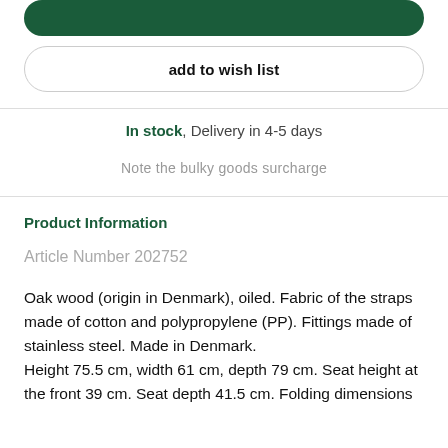[Figure (other): Green rounded button at top (add to cart or similar)]
add to wish list
In stock, Delivery in 4-5 days
Note the bulky goods surcharge
Product Information
Article Number 202752
Oak wood (origin in Denmark), oiled. Fabric of the straps made of cotton and polypropylene (PP). Fittings made of stainless steel. Made in Denmark. Height 75.5 cm, width 61 cm, depth 79 cm. Seat height at the front 39 cm. Seat depth 41.5 cm. Folding dimensions